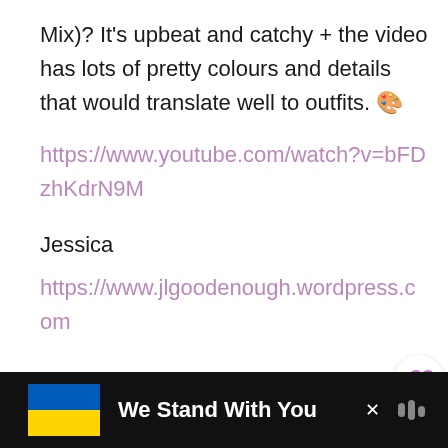Mix)? It's upbeat and catchy + the video has lots of pretty colours and details that would translate well to outfits. 🎨
https://www.youtube.com/watch?v=bFDzhKdrN9M
Jessica
https://www.jlgoodenough.wordpress.com
We Stand With You